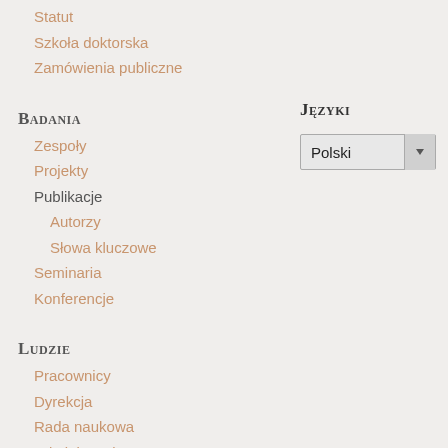Statut
Szkoła doktorska
Zamówienia publiczne
Języki
[Figure (screenshot): Dropdown selector showing 'Polski' with arrow button]
Badania
Zespoły
Projekty
Publikacje
Autorzy
Słowa kluczowe
Seminaria
Konferencje
Ludzie
Pracownicy
Dyrekcja
Rada naukowa
Administracja